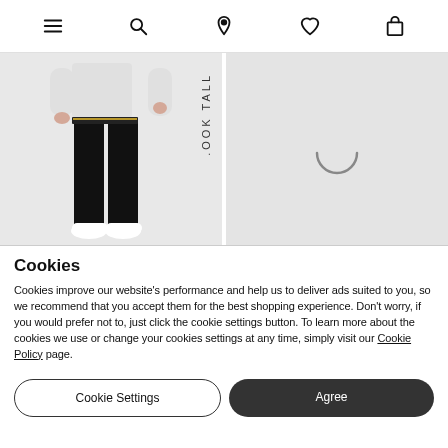Navigation bar with menu, search, location, wishlist, and bag icons
[Figure (photo): Fashion product image showing model wearing black slim-fit trousers with white long-sleeve top and white sneakers. Vertical text reading 'LOOK TALL' on right side of image. Left panel of a two-panel product shot.]
[Figure (photo): Right panel product image showing light grey background with a loading spinner arc, suggesting image is still loading.]
Cookies
Cookies improve our website's performance and help us to deliver ads suited to you, so we recommend that you accept them for the best shopping experience. Don't worry, if you would prefer not to, just click the cookie settings button. To learn more about the cookies we use or change your cookies settings at any time, simply visit our Cookie Policy page.
Cookie Settings
Agree